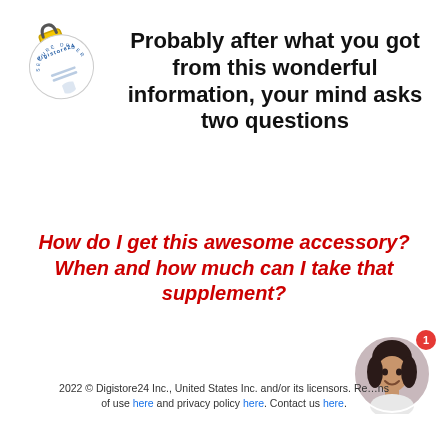[Figure (logo): Digistore24 secure order badge logo with padlock icon]
Probably after what you got from this wonderful information, your mind asks two questions
How do I get this awesome accessory?
When and how much can I take that supplement?
[Figure (photo): Circular avatar photo of a smiling woman with dark hair, with a red notification badge showing '1']
2022 © Digistore24 Inc., United States Inc. and/or its licensors. Re...ns of use here and privacy policy here. Contact us here.